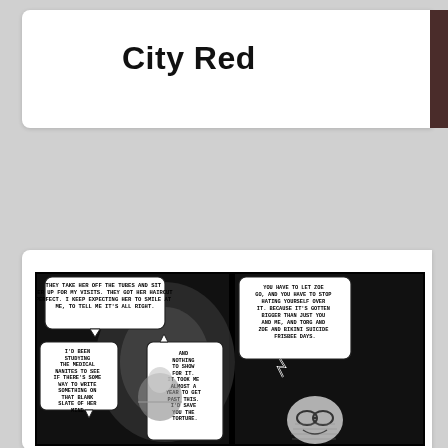City Red
[Figure (illustration): Two-panel black and white comic strip. Left panel: speech bubbles read 'THEY TAKE HER OFF THE TUBES AND SIT HER UP FOR MY VISITS. THEY GOT HER HAIRCUT PERFECT. I KEEP EXPECTING HER TO SMILE AT ME, TO TELL ME IT'S ALL RIGHT.' and 'I'D BEEN STUDYING THE MEDICAL NANITES TO SEE IF THERE'S SOME WAY TO WRITE SOMETHING ON THAT BLANK SLATE OF HER MIND.' and 'AND NOTHING TO SHOW FOR IT. IT TOOK ME ALMOST A YEAR TO GET PAST THIS. I'D SAVE YOU THE TORTURE.' Right panel: speech bubble reads 'YOU HAVE TO LET ZOE GO, AND YOU HAVE TO STOP HATING YOURSELF OVER IT. BECAUSE IT'S GOTTEN BIGGER THAN JUST YOU AND ME, AND TORG AND ZOE AND BIKINI SUICIDE FRISBEE DAYS.' Characters illustrated in black and white comic style.]